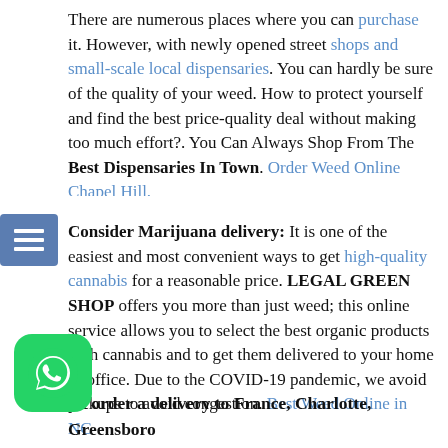There are numerous places where you can purchase it. However, with newly opened street shops and small-scale local dispensaries. You can hardly be sure of the quality of your weed. How to protect yourself and find the best price-quality deal without making too much effort?. You Can Always Shop From The Best Dispensaries In Town. Order Weed Online Chapel Hill.
Consider Marijuana delivery: It is one of the easiest and most convenient ways to get high-quality cannabis for a reasonable price. LEGAL GREEN SHOP offers you more than just weed; this online service allows you to select the best organic products with cannabis and to get them delivered to your home or office. Due to the COVID-19 pandemic, we avoid pickups to avoid congestion. Best Weed Online in NC
[Figure (logo): WhatsApp logo button - green rounded square with white phone handset icon]
To order a delivery to France, Charlotte, Greensboro